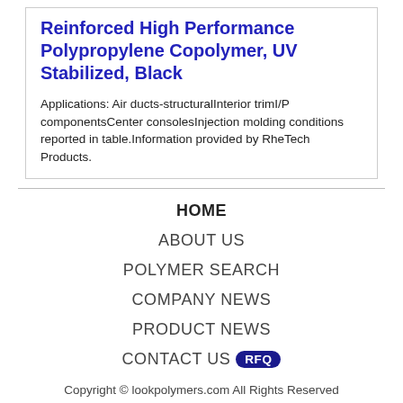Reinforced High Performance Polypropylene Copolymer, UV Stabilized, Black
Applications: Air ducts-structuralInterior trimI/P componentsCenter consolesInjection molding conditions reported in table.Information provided by RheTech Products.
HOME
ABOUT US
POLYMER SEARCH
COMPANY NEWS
PRODUCT NEWS
CONTACT US RFQ
Copyright © lookpolymers.com All Rights Reserved